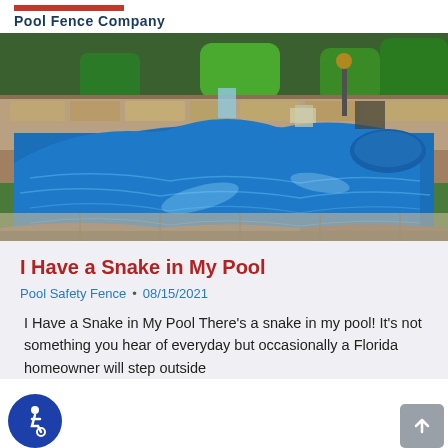Pool Fence Company
[Figure (photo): Aerial view of a large freeform residential swimming pool with bright blue water, stone surround, spa, and landscaped backyard with stone retaining walls]
I Have a Snake in My Pool
Pool Safety Fence • 08/15/2021
I Have a Snake in My Pool There's a snake in my pool! It's not something you hear of everyday but occasionally a Florida homeowner will step outside